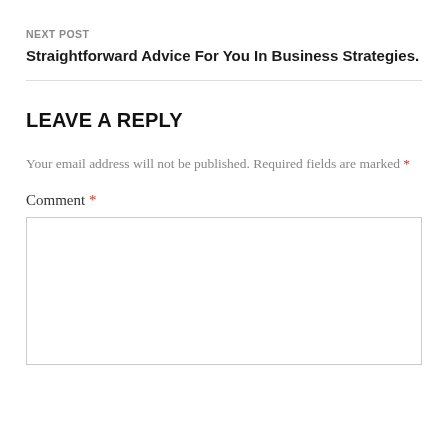NEXT POST
Straightforward Advice For You In Business Strategies.
LEAVE A REPLY
Your email address will not be published. Required fields are marked *
Comment *